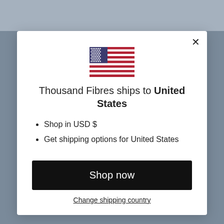[Figure (illustration): US flag SVG icon]
Thousand Fibres ships to United States
Shop in USD $
Get shipping options for United States
Shop now
Change shipping country